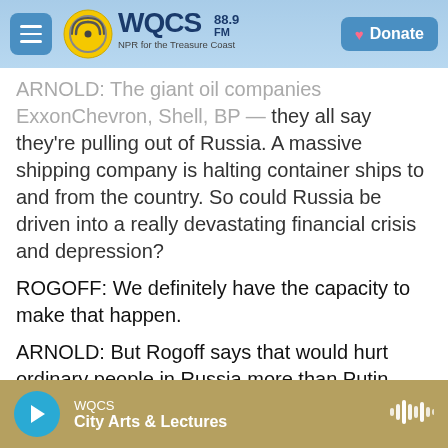WQCS 88.9 FM — NPR for the Treasure Coast | Donate
ARNOLD: The giant oil companies ExxonChevron, Shell, BP — they all say they're pulling out of Russia. A massive shipping company is halting container ships to and from the country. So could Russia be driven into a really devastating financial crisis and depression?
ROGOFF: We definitely have the capacity to make that happen.
ARNOLD: But Rogoff says that would hurt ordinary people in Russia more than Putin, and it could take more than a year to play out. So...
ROGOFF: There is a question of how much pain
WQCS — City Arts & Lectures